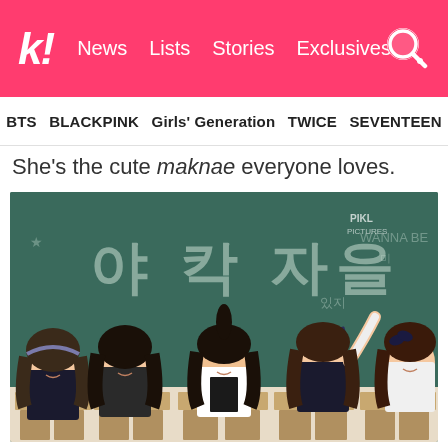k! News Lists Stories Exclusives
BTS BLACKPINK Girls' Generation TWICE SEVENTEEN
She's the cute maknae everyone loves.
[Figure (photo): Five ITZY members in school uniforms posing in front of a green chalkboard with Korean text.]
Yuna (Right) with her fellow ITZY members